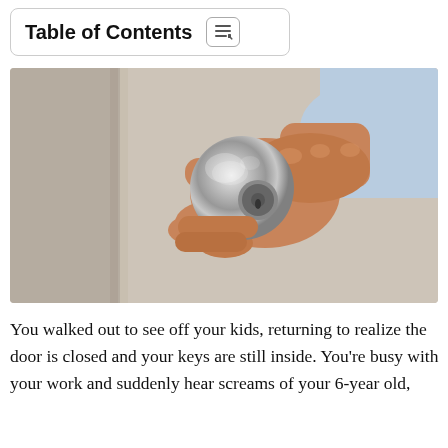Table of Contents
[Figure (photo): A close-up photograph of a hand gripping a round silver door knob on a wall]
You walked out to see off your kids, returning to realize the door is closed and your keys are still inside. You're busy with your work and suddenly hear screams of your 6-year old,